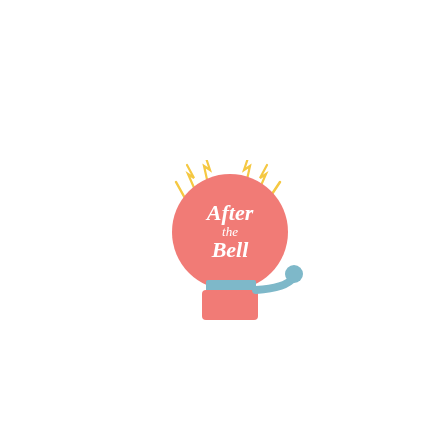[Figure (logo): After the Bell logo: a stylized school bell in salmon/coral pink with a blue mount and handle. The bell dome is a large pink circle with white script text reading 'After the Bell' (with 'the' in smaller script). Yellow lightning bolt rays emanate from the top of the bell circle. Below the dome is a blue-grey rectangular base and a curved blue arm with a blue circle at the end.]